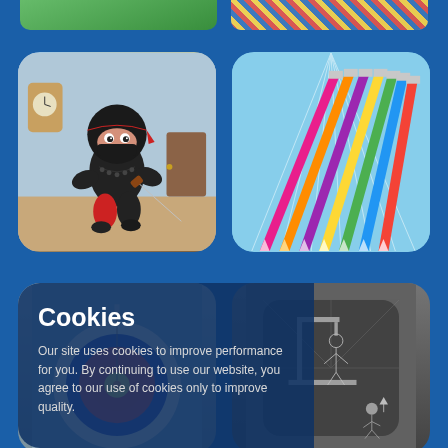[Figure (screenshot): Top partial app icon thumbnails - green game app on left, striped/colored app on right]
[Figure (illustration): Ninja character app icon - cartoon ninja with sword in a room setting]
[Figure (illustration): Colored pencils app icon - rainbow of colored pencils fanned out on light blue background]
[Figure (illustration): Archery game app icon - archery target with bullseye, partially visible]
[Figure (illustration): Hangman game app icon - dark icon with hangman figure graphic]
Cookies
Our site uses cookies to improve performance for you. By continuing to use our website, you agree to our use of cookies only to improve quality.